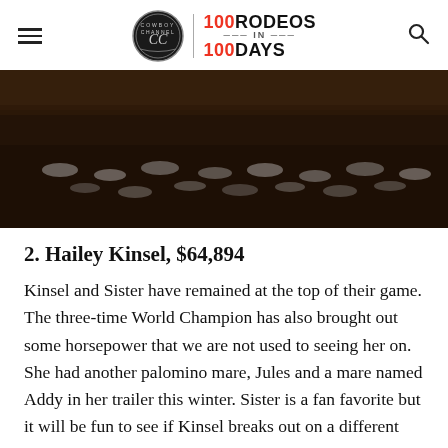Cowboy Channel | 100 Rodeos in 100 Days
[Figure (photo): Dark overhead photo of a rodeo arena with crowd wearing cowboy hats, dim lighting with brown/wood tones]
2. Hailey Kinsel, $64,894
Kinsel and Sister have remained at the top of their game. The three-time World Champion has also brought out some horsepower that we are not used to seeing her on. She had another palomino mare, Jules and a mare named Addy in her trailer this winter. Sister is a fan favorite but it will be fun to see if Kinsel breaks out on a different